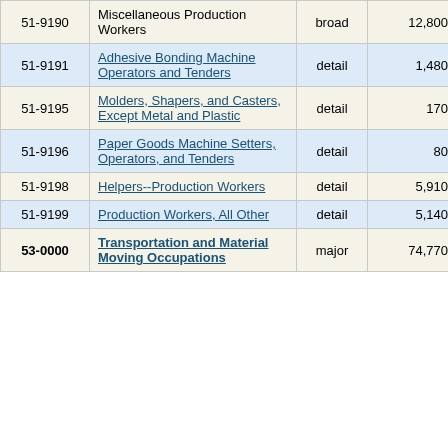| Code | Title | Level | Employment | Percent |
| --- | --- | --- | --- | --- |
| 51-9190 | Miscellaneous Production Workers | broad | 12,800 | 4.0% |
| 51-9191 | Adhesive Bonding Machine Operators and Tenders | detail | 1,480 | 6.4% |
| 51-9195 | Molders, Shapers, and Casters, Except Metal and Plastic | detail | 170 | 10.4% |
| 51-9196 | Paper Goods Machine Setters, Operators, and Tenders | detail | 80 | 7.4% |
| 51-9198 | Helpers--Production Workers | detail | 5,910 | 4.1% |
| 51-9199 | Production Workers, All Other | detail | 5,140 | 7.8% |
| 53-0000 | Transportation and Material Moving Occupations | major | 74,770 | 1.3% |